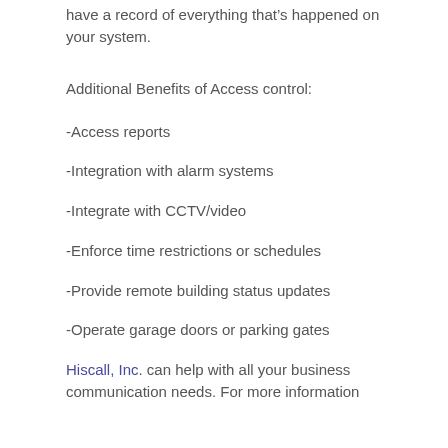have a record of everything that's happened on your system.
Additional Benefits of Access control:
-Access reports
-Integration with alarm systems
-Integrate with CCTV/video
-Enforce time restrictions or schedules
-Provide remote building status updates
-Operate garage doors or parking gates
Hiscall, Inc. can help with all your business communication needs. For more information